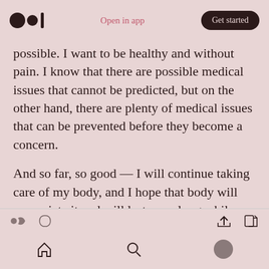Open in app | Get started
possible. I want to be healthy and without pain. I know that there are possible medical issues that cannot be predicted, but on the other hand, there are plenty of medical issues that can be prevented before they become a concern.
And so far, so good — I will continue taking care of my body, and I hope that body will appreciate it and will last me a long while with no breakdowns.
Navigation bar with home, search, and profile icons